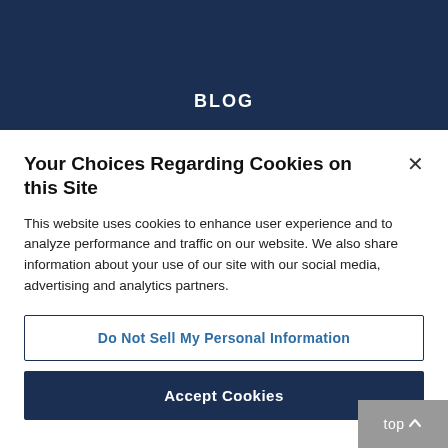BLOG
Your Choices Regarding Cookies on this Site
This website uses cookies to enhance user experience and to analyze performance and traffic on our website. We also share information about your use of our site with our social media, advertising and analytics partners.
Do Not Sell My Personal Information
Accept Cookies
top